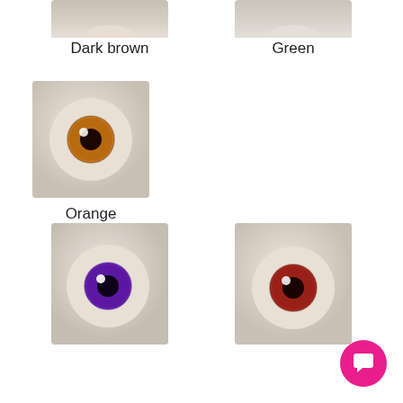[Figure (photo): Top partial view of a dark brown prosthetic/doll eye (cream-colored sclera, dark brown iris)]
Dark brown
[Figure (photo): Top partial view of a green prosthetic/doll eye (cream-colored sclera, green iris)]
Green
[Figure (photo): Full view of an orange prosthetic/doll eye on white background, cream sclera, orange iris with dark pupil and highlight]
Orange
[Figure (photo): Full view of a purple prosthetic/doll eye on white background, cream sclera, purple iris with dark pupil and highlight]
[Figure (photo): Full view of a red/burgundy prosthetic/doll eye on white background, cream sclera, red iris with dark pupil and highlight]